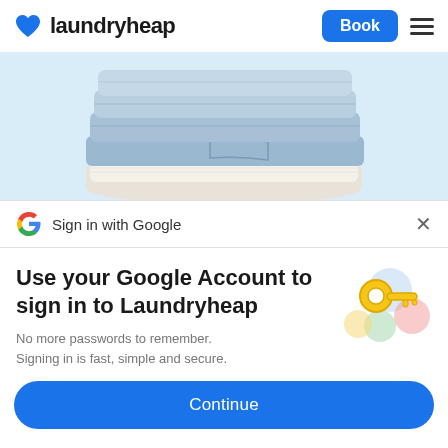laundryheap  Book
[Figure (photo): Stack of neatly folded blue jeans and white clothing on a light blue background]
Sign in with Google  ×
Use your Google Account to sign in to Laundryheap
No more passwords to remember. Signing in is fast, simple and secure.
[Figure (illustration): Google key illustration with colorful circles]
Continue